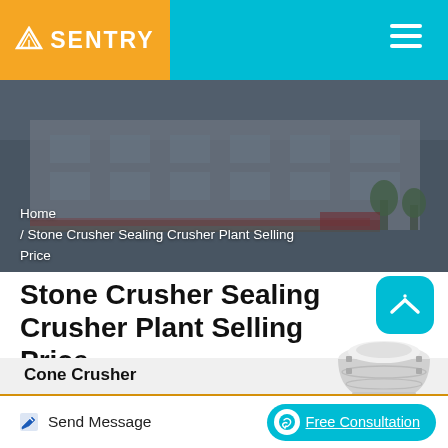SENTRY
[Figure (photo): Exterior photo of a manufacturing facility or industrial plant building with Chinese signage, partially obscured by a dark overlay.]
Home / Stone Crusher Sealing Crusher Plant Selling Price
Stone Crusher Sealing Crusher Plant Selling Price
[Figure (photo): Cone Crusher machine — white and grey heavy industrial crushing equipment.]
Cone Crusher
Send Message
Free Consultation